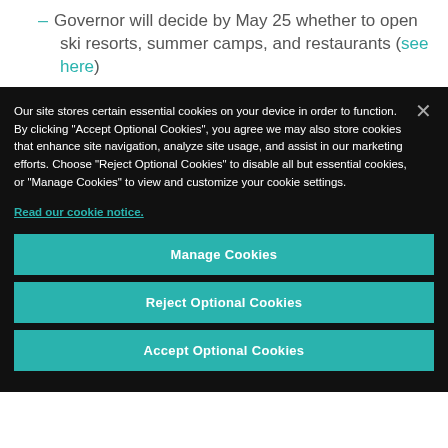Governor will decide by May 25 whether to open ski resorts, summer camps, and restaurants (see here)
Our site stores certain essential cookies on your device in order to function. By clicking "Accept Optional Cookies", you agree we may also store cookies that enhance site navigation, analyze site usage, and assist in our marketing efforts. Choose "Reject Optional Cookies" to disable all but essential cookies, or "Manage Cookies" to view and customize your cookie settings.
Read our cookie notice.
Manage Cookies
Reject Optional Cookies
Accept Optional Cookies